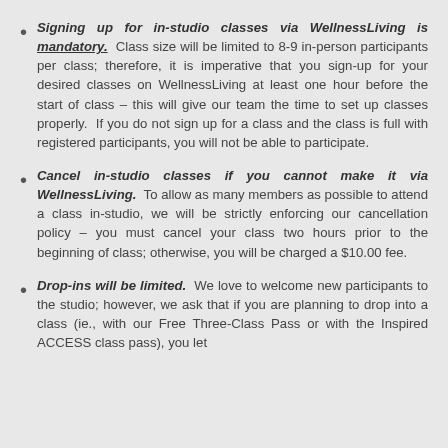Signing up for in-studio classes via WellnessLiving is mandatory. Class size will be limited to 8-9 in-person participants per class; therefore, it is imperative that you sign-up for your desired classes on WellnessLiving at least one hour before the start of class – this will give our team the time to set up classes properly. If you do not sign up for a class and the class is full with registered participants, you will not be able to participate.
Cancel in-studio classes if you cannot make it via WellnessLiving. To allow as many members as possible to attend a class in-studio, we will be strictly enforcing our cancellation policy – you must cancel your class two hours prior to the beginning of class; otherwise, you will be charged a $10.00 fee.
Drop-ins will be limited. We love to welcome new participants to the studio; however, we ask that if you are planning to drop into a class (ie., with our Free Three-Class Pass or with the Inspired ACCESS class pass), you let